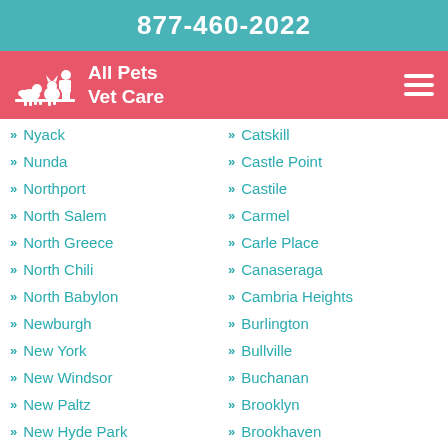877-460-2022
[Figure (logo): All Pets Vet Care logo with white silhouette of pets and person on red/pink background]
Nyack
Nunda
Northport
North Salem
North Greece
North Chili
North Babylon
Newburgh
New York
New Windsor
New Paltz
New Hyde Park
New City
Catskill
Castle Point
Castile
Carmel
Carle Place
Canaseraga
Cambria Heights
Burlington
Bullville
Buchanan
Brooklyn
Brookhaven
Bronx